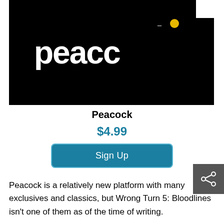[Figure (logo): Peacock streaming service logo on black background showing partial 'peacc' text in white bold font with a yellow dot and dash mark in upper right area]
Peacock
$4.99
Sign Up
Peacock is a relatively new platform with many exclusives and classics, but Wrong Turn 5: Bloodlines isn't one of them as of the time of writing.